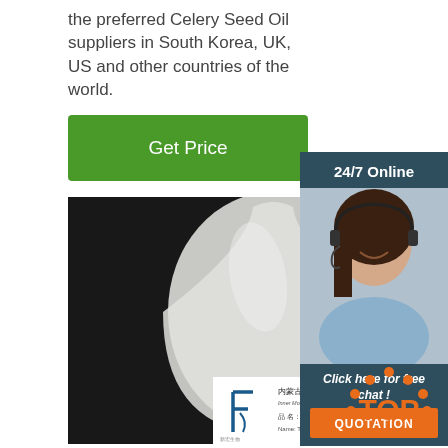the preferred Celery Seed Oil suppliers in South Korea, UK, US and other countries of the world.
Get Price
[Figure (photo): Photograph of a teardrop-shaped white powder package against a dark background, with a company label at the bottom showing Inner Mongolia XinHong Biotech Company Limited branding, Chinese text '品名：转移因子干粉' and 'Name: Transfer factor dries powder']
[Figure (photo): 24/7 Online chat banner with a female customer service agent wearing a headset, with 'Click here for free chat!' text and an orange QUOTATION button]
[Figure (logo): Orange TOP logo at bottom right corner]